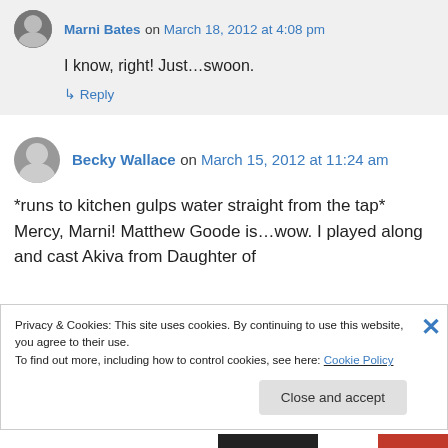Marni Bates on March 18, 2012 at 4:08 pm
I know, right! Just…swoon.
↳ Reply
Becky Wallace on March 15, 2012 at 11:24 am
*runs to kitchen gulps water straight from the tap* Mercy, Marni! Matthew Goode is…wow. I played along and cast Akiva from Daughter of
Privacy & Cookies: This site uses cookies. By continuing to use this website, you agree to their use.
To find out more, including how to control cookies, see here: Cookie Policy
Close and accept